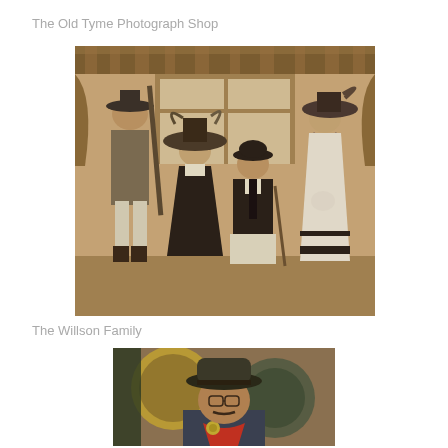The Old Tyme Photograph Shop
[Figure (photo): Sepia-toned old-tyme photograph of four people in period costumes: a man in a long coat and wide-brimmed hat holding a rifle, a woman in a large Victorian hat and dark dress seated, a man in a bowler hat seated, and a woman in a white Victorian dress with a feathered hat, posed in front of a curtained backdrop.]
The Willson Family
[Figure (photo): Color photograph of a man wearing a cowboy hat and red bandana/neckerchief with a sheriff's badge, posed in front of a decorative backdrop with large gold circular shapes.]